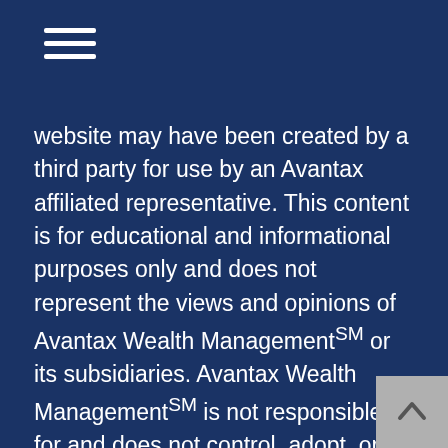[Figure (other): Hamburger menu icon with three horizontal white lines]
website may have been created by a third party for use by an Avantax affiliated representative. This content is for educational and informational purposes only and does not represent the views and opinions of Avantax Wealth ManagementSM or its subsidiaries. Avantax Wealth ManagementSM is not responsible for and does not control, adopt, or endorse any content contained on any third party website.
This information is not intended as tax or legal advice. Please consult legal or tax professionals for specific information regarding your individual situation.